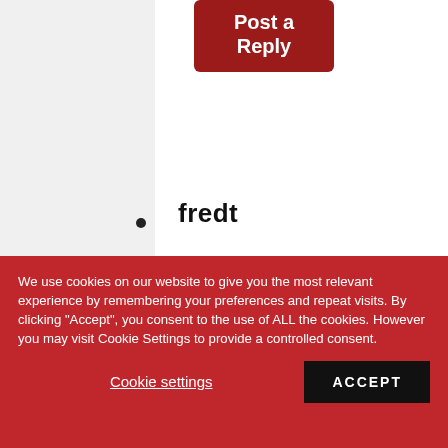Post a Reply
fredt
MONDAY, AUGUST 29, 2011
Point out the obvious and you still
We use cookies on our website to give you the most relevant experience by remembering your preferences and repeat visits. By clicking "Accept", you consent to the use of ALL the cookies. However you may visit Cookie Settings to provide a controlled consent.
Cookie settings
ACCEPT